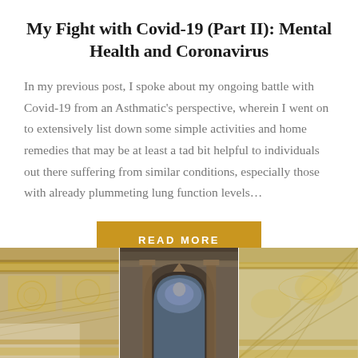My Fight with Covid-19 (Part II): Mental Health and Coronavirus
In my previous post, I spoke about my ongoing battle with Covid-19 from an Asthmatic’s perspective, wherein I went on to extensively list down some simple activities and home remedies that may be at least a tad bit helpful to individuals out there suffering from similar conditions, especially those with already plummeting lung function levels…
READ MORE
[Figure (photo): Three-panel photo strip showing ornate ceiling/architectural interior with arches and gilded decorations, reminiscent of a classical European building interior.]